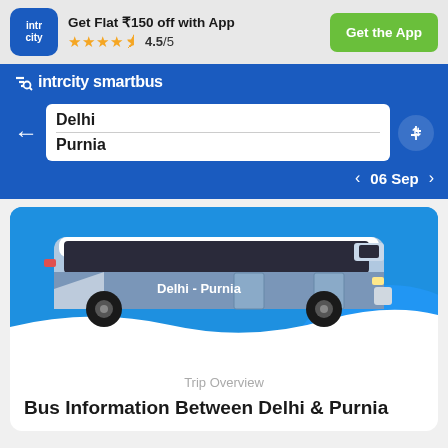[Figure (screenshot): IntrCity app banner with logo, offer text 'Get Flat ₹150 off with App', star rating 4.5/5, and 'Get the App' button]
[Figure (screenshot): IntrCity SmartBus navigation bar with logo]
Delhi
Purnia
06 Sep
[Figure (illustration): Illustration of a blue and white intercity bus labeled 'Delhi - Purnia' on a blue background]
Trip Overview
Bus Information Between Delhi & Purnia